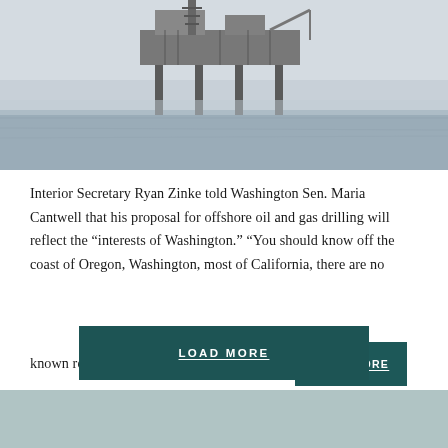[Figure (photo): Offshore oil drilling platform on open sea with overcast sky]
Interior Secretary Ryan Zinke told Washington Sen. Maria Cantwell that his proposal for offshore oil and gas drilling will reflect the "interests of Washington." "You should know off the coast of Oregon, Washington, most of California, there are no

known resources of any weight," Zinke said.
READ MORE
LOAD MORE